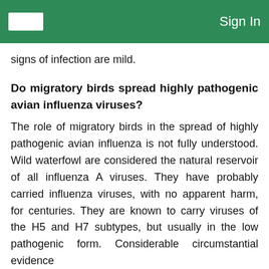Sign In
signs of infection are mild.
Do migratory birds spread highly pathogenic avian influenza viruses?
The role of migratory birds in the spread of highly pathogenic avian influenza is not fully understood. Wild waterfowl are considered the natural reservoir of all influenza A viruses. They have probably carried influenza viruses, with no apparent harm, for centuries. They are known to carry viruses of the H5 and H7 subtypes, but usually in the low pathogenic form. Considerable circumstantial evidence